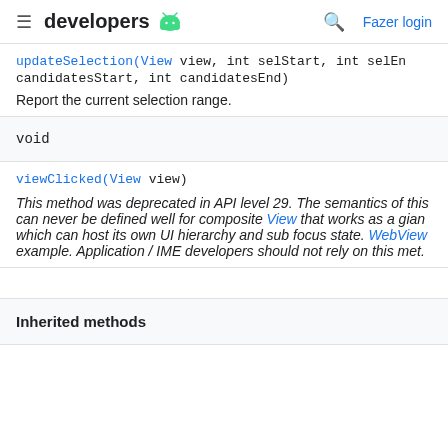developers [android logo] | search | Fazer login
updateSelection(View view, int selStart, int selEn candidatesStart, int candidatesEnd)
Report the current selection range.
void
viewClicked(View view)
This method was deprecated in API level 29. The semantics of this can never be defined well for composite View that works as a gian which can host its own UI hierarchy and sub focus state. WebView example. Application / IME developers should not rely on this met.
Inherited methods